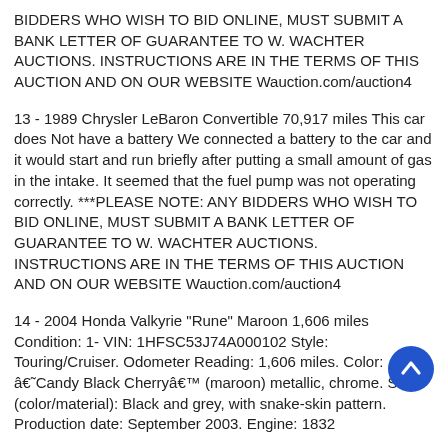BIDDERS WHO WISH TO BID ONLINE, MUST SUBMIT A BANK LETTER OF GUARANTEE TO W. WACHTER AUCTIONS. INSTRUCTIONS ARE IN THE TERMS OF THIS AUCTION AND ON OUR WEBSITE Wauction.com/auction4
13 - 1989 Chrysler LeBaron Convertible 70,917 miles This car does Not have a battery We connected a battery to the car and it would start and run briefly after putting a small amount of gas in the intake. It seemed that the fuel pump was not operating correctly. ***PLEASE NOTE: ANY BIDDERS WHO WISH TO BID ONLINE, MUST SUBMIT A BANK LETTER OF GUARANTEE TO W. WACHTER AUCTIONS. INSTRUCTIONS ARE IN THE TERMS OF THIS AUCTION AND ON OUR WEBSITE Wauction.com/auction4
14 - 2004 Honda Valkyrie "Rune" Maroon 1,606 miles Condition: 1- VIN: 1HFSC53J74A000102 Style: Touring/Cruiser. Odometer Reading: 1,606 miles. Color: â€˜Candy Black Cherryâ€™ (maroon) metallic, chrome. Seat (color/material): Black and grey, with snake-skin pattern. Production date: September 2003. Engine: 1832
[Figure (other): Circular blue scroll-to-top button with white upward arrow]